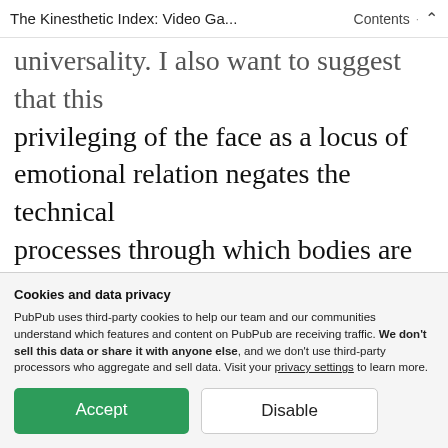The Kinesthetic Index: Video Ga... · Contents ∧
universality. I also want to suggest that this privileging of the face as a locus of emotional relation negates the technical processes through which bodies are integrated, stored, and combined in contemporary media. The image becomes a fetishistic locus of encounter, obscuring the mechanisms of inscription that enable
Cookies and data privacy
PubPub uses third-party cookies to help our team and our communities understand which features and content on PubPub are receiving traffic. We don't sell this data or share it with anyone else, and we don't use third-party processors who aggregate and sell data. Visit your privacy settings to learn more.
Accept | Disable